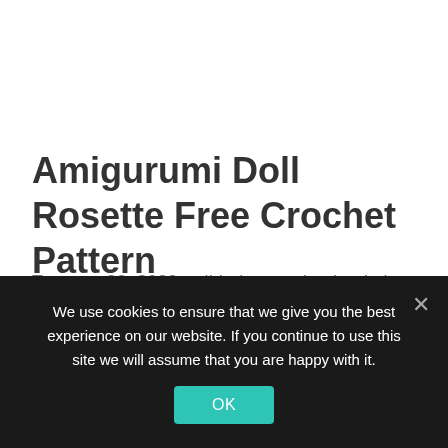Amigurumi Doll Rosette Free Crochet Pattern
Temmuz 30, 2020 tarihinde yayınlandı admin tarafından
We use cookies to ensure that we give you the best experience on our website. If you continue to use this site we will assume that you are happy with it.